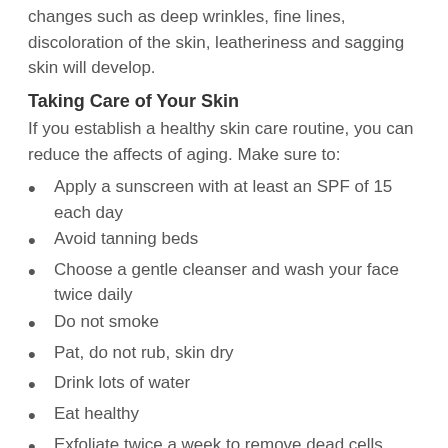As fundamental skin structures break down, changes such as deep wrinkles, fine lines, discoloration of the skin, leatheriness and sagging skin will develop.
Taking Care of Your Skin
If you establish a healthy skin care routine, you can reduce the affects of aging. Make sure to:
Apply a sunscreen with at least an SPF of 15 each day
Avoid tanning beds
Choose a gentle cleanser and wash your face twice daily
Do not smoke
Pat, do not rub, skin dry
Drink lots of water
Eat healthy
Exfoliate twice a week to remove dead cells